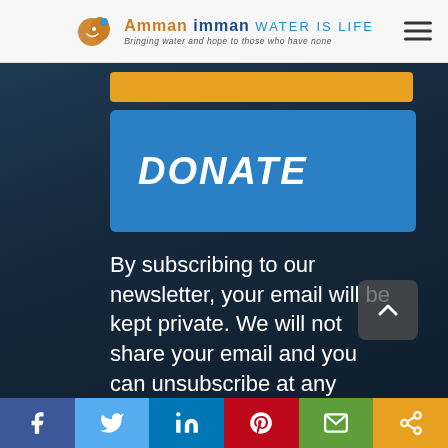Amman Imman WATER IS LIFE — Bringing water and hope to those who have none
DONATE
By subscribing to our newsletter, your email will be kept private. We will not share your email and you can unsubscribe at any time.
Social share bar: Facebook, Twitter, LinkedIn, Pinterest, Email, Share